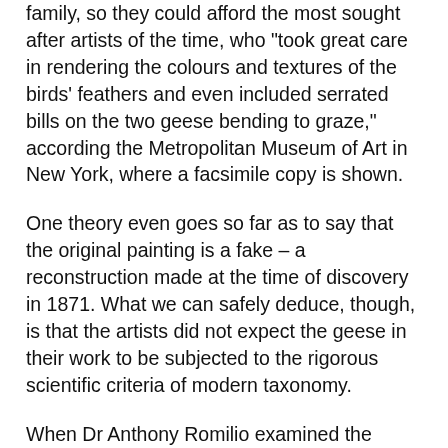family, so they could afford the most sought after artists of the time, who "took great care in rendering the colours and textures of the birds' feathers and even included serrated bills on the two geese bending to graze," according the Metropolitan Museum of Art in New York, where a facsimile copy is shown.
One theory even goes so far as to say that the original painting is a fake – a reconstruction made at the time of discovery in 1871. What we can safely deduce, though, is that the artists did not expect the geese in their work to be subjected to the rigorous scientific criteria of modern taxonomy.
When Dr Anthony Romilio examined the painting, a speckle-breasted goose caught his eye. "The strange but beautiful bird was quite unlike modern Red-breasted Geese [Branta ruficollis], with distinct, bold colours and patterns on its body, face, breast, wings and legs," said the University of Queensland researcher. "Artistic licence could account for the differences with modern geese, but artworks from this site have extremely realistic depictions of other birds and mammals." This revelation sparked a new piece of research